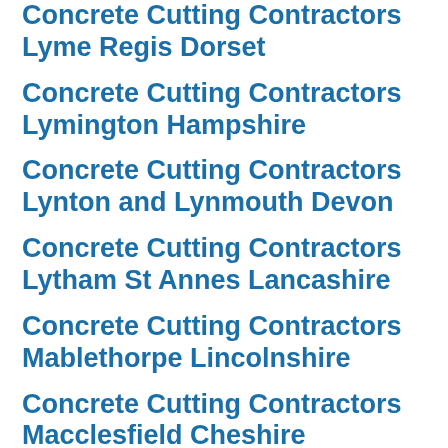Concrete Cutting Contractors Lyme Regis Dorset
Concrete Cutting Contractors Lymington Hampshire
Concrete Cutting Contractors Lynton and Lynmouth Devon
Concrete Cutting Contractors Lytham St Annes Lancashire
Concrete Cutting Contractors Mablethorpe Lincolnshire
Concrete Cutting Contractors Macclesfield Cheshire
Concrete Cutting Contractors Madeley Shropshire